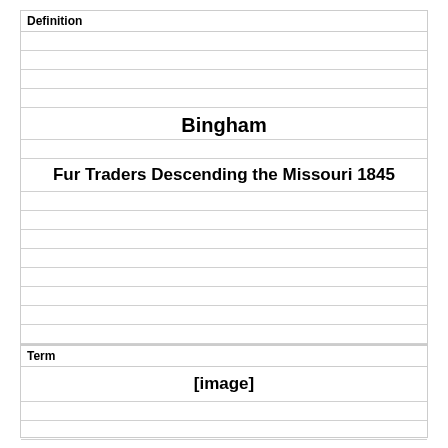Definition
Bingham
Fur Traders Descending the Missouri 1845
Term
[image]